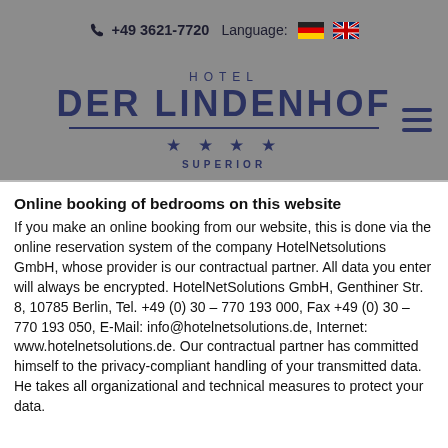☎ +49 3621-7720  Language: 🇩🇪 🇬🇧
[Figure (logo): Hotel Der Lindenhof logo with 4 stars and SUPERIOR text]
Online booking of bedrooms on this website
If you make an online booking from our website, this is done via the online reservation system of the company HotelNetsolutions GmbH, whose provider is our contractual partner. All data you enter will always be encrypted. HotelNetSolutions GmbH, Genthiner Str. 8, 10785 Berlin, Tel. +49 (0) 30 – 770 193 000, Fax +49 (0) 30 – 770 193 050, E-Mail: info@hotelnetsolutions.de, Internet: www.hotelnetsolutions.de. Our contractual partner has committed himself to the privacy-compliant handling of your transmitted data. He takes all organizational and technical measures to protect your data.